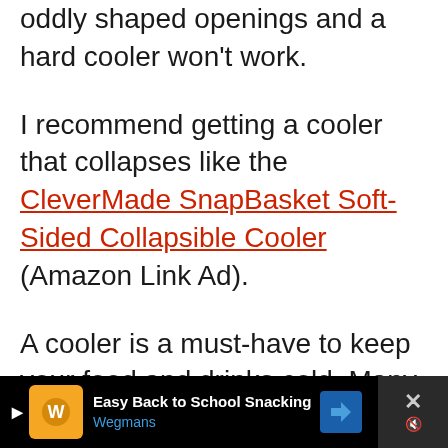oddly shaped openings and a hard cooler won't work.
I recommend getting a cooler that collapses like the CleverMade SnapBasket Soft-Sided Collapsible Cooler (Amazon Link Ad).
A cooler is a must-have to keep your food and drinks cold. Many lakes have islands where you can beach the watercraft and get out the cooler and have lunch. One favorite spot of mine is a restaurant on the water and having a cooler where you can bring back leftovers is a nice plus.
[Figure (other): Advertisement bar at the bottom: black background with Wegmans 'Easy Back to School Snacking' ad, orange logo, blue directional arrow, and close button with X icon.]